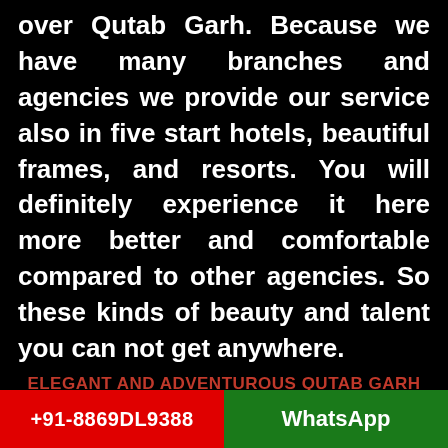over Qutab Garh. Because we have many branches and agencies we provide our service also in five start hotels, beautiful frames, and resorts. You will definitely experience it here more better and comfortable compared to other agencies. So these kinds of beauty and talent you can not get anywhere.
ELEGANT AND ADVENTUROUS QUTAB GARH ESCORT GIRLS ENJOY YOUR SENSUOUS LIFE
We know what is a good relationship and satisfaction every man wants to make this kind of bond with their partner. If you are life
+91-8869DL9388    WhatsApp